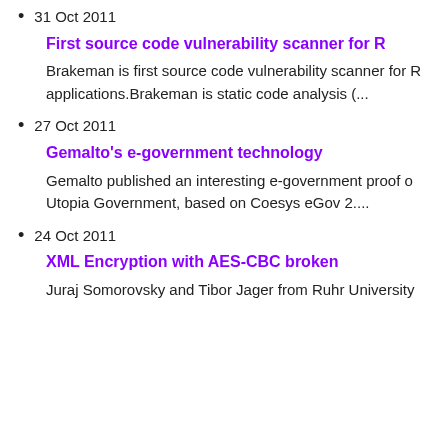31 Oct 2011
First source code vulnerability scanner for R
Brakeman is first source code vulnerability scanner for R applications.Brakeman is static code analysis (...
27 Oct 2011
Gemalto’s e-government technology
Gemalto published an interesting e-government proof o Utopia Government, based on Coesys eGov 2....
24 Oct 2011
XML Encryption with AES-CBC broken
Juraj Somorovsky and Tibor Jager from Ruhr University